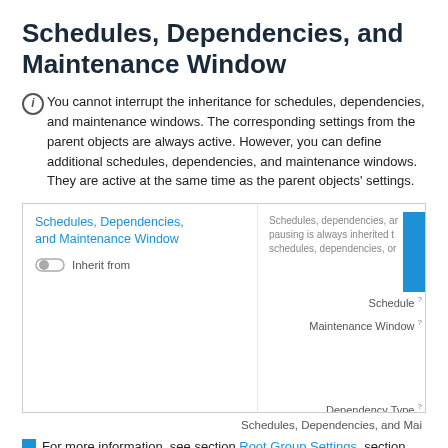Schedules, Dependencies, and Maintenance Window
You cannot interrupt the inheritance for schedules, dependencies, and maintenance windows. The corresponding settings from the parent objects are always active. However, you can define additional schedules, dependencies, and maintenance windows. They are active at the same time as the parent objects' settings.
[Figure (screenshot): Screenshot of the Schedules, Dependencies, and Maintenance Window UI panel showing: a toggle for 'Inherit from', Schedule field set to 'None', Maintenance Window with radio buttons 'Do not set up a one-time mai...' (selected) and 'Set up a one-time maintenanc...', Dependency Type with radio buttons 'Use parent' (selected), 'Select a sensor', 'Master sensor for parent'. A blue vertical bar and tooltip text are visible on the right side.]
Schedules, Dependencies, and Mai
For more information, see section Root Group Settings, section Schedules, Dependencies, and Maintenance Window.